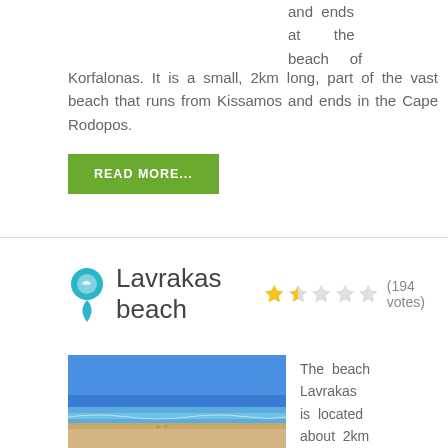and ends at the beach of Korfalonas. It is a small, 2km long, part of the vast beach that runs from Kissamos and ends in the Cape Rodopos.
READ MORE...
Lavrakas beach (194 votes)
[Figure (photo): A beach photo showing sandy shore, shallow water and blue sky - Lavrakas beach]
The beach Lavrakas is located about 2km west of Agiannis, near the